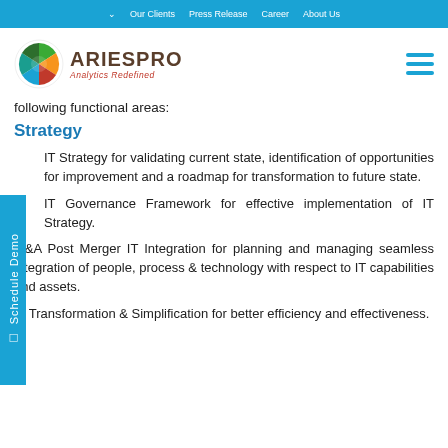Our Clients | Press Release | Career | About Us
[Figure (logo): AriesPro Analytics Redefined logo with colorful circular icon]
following functional areas:
Strategy
IT Strategy for validating current state, identification of opportunities for improvement and a roadmap for transformation to future state.
IT Governance Framework for effective implementation of IT Strategy.
M&A Post Merger IT Integration for planning and managing seamless integration of people, process & technology with respect to IT capabilities and assets.
IT Transformation & Simplification for better efficiency and effectiveness.